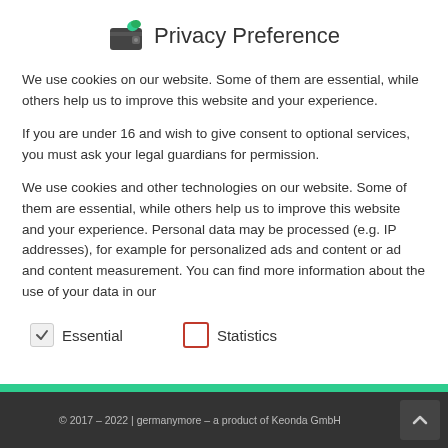Privacy Preference
We use cookies on our website. Some of them are essential, while others help us to improve this website and your experience.
If you are under 16 and wish to give consent to optional services, you must ask your legal guardians for permission.
We use cookies and other technologies on our website. Some of them are essential, while others help us to improve this website and your experience. Personal data may be processed (e.g. IP addresses), for example for personalized ads and content or ad and content measurement. You can find more information about the use of your data in our
Essential
Statistics
© 2017 – 2022 | germanymore – a product of Keonda GmbH